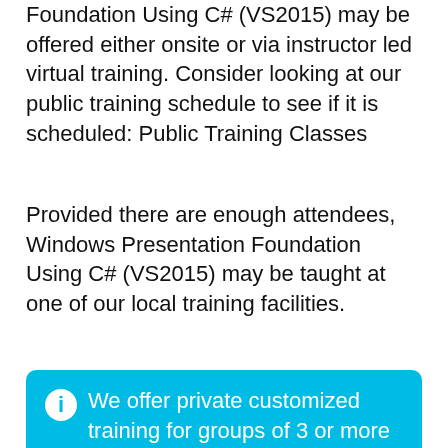Foundation Using C# (VS2015) may be offered either onsite or via instructor led virtual training. Consider looking at our public training schedule to see if it is scheduled: Public Training Classes
Provided there are enough attendees, Windows Presentation Foundation Using C# (VS2015) may be taught at one of our local training facilities.
We offer private customized training for groups of 3 or more attendees.
GET PRICING
C#